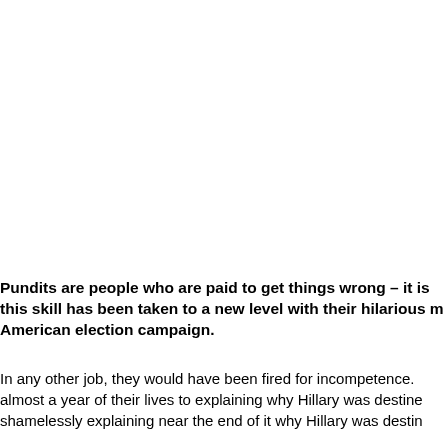Pundits are people who are paid to get things wrong – it is this skill has been taken to a new level with their hilarious m American election campaign.
In any other job, they would have been fired for incompetence. almost a year of their lives to explaining why Hillary was destine shamelessly explaining near the end of it why Hillary was destin